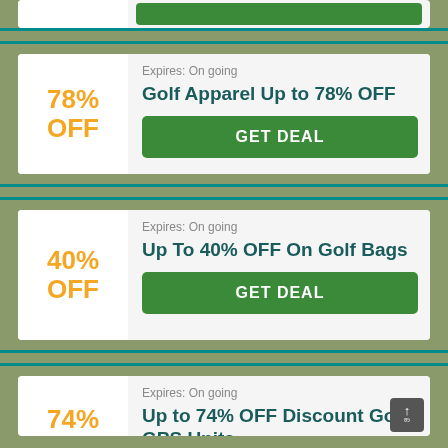[Figure (other): Top partial coupon card with green GET DEAL button visible at top]
Expires: On going
Golf Apparel Up to 78% OFF
78% OFF
GET DEAL
Expires: On going
Up To 40% OFF On Golf Bags
40% OFF
GET DEAL
Expires: On going
Up to 74% OFF Discount Golf GPS Units
74%